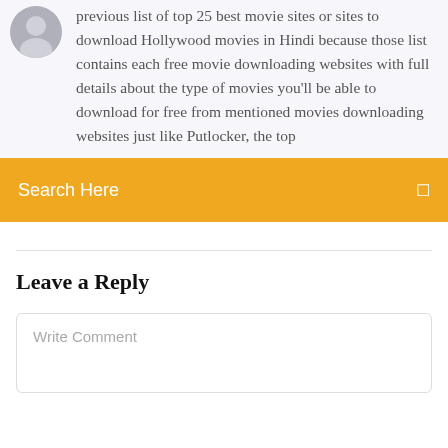previous list of top 25 best movie sites or sites to download Hollywood movies in Hindi because those list contains each free movie downloading websites with full details about the type of movies you'll be able to download for free from mentioned movies downloading websites just like Putlocker, the top
Search Here
Leave a Reply
Write Comment